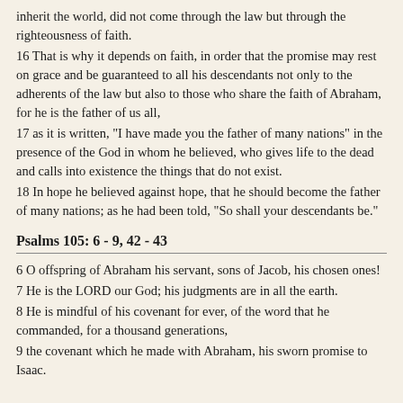inherit the world, did not come through the law but through the righteousness of faith.
16 That is why it depends on faith, in order that the promise may rest on grace and be guaranteed to all his descendants not only to the adherents of the law but also to those who share the faith of Abraham, for he is the father of us all,
17 as it is written, "I have made you the father of many nations" in the presence of the God in whom he believed, who gives life to the dead and calls into existence the things that do not exist.
18 In hope he believed against hope, that he should become the father of many nations; as he had been told, "So shall your descendants be."
Psalms 105: 6 - 9, 42 - 43
6 O offspring of Abraham his servant, sons of Jacob, his chosen ones!
7 He is the LORD our God; his judgments are in all the earth.
8 He is mindful of his covenant for ever, of the word that he commanded, for a thousand generations,
9 the covenant which he made with Abraham, his sworn promise to Isaac.